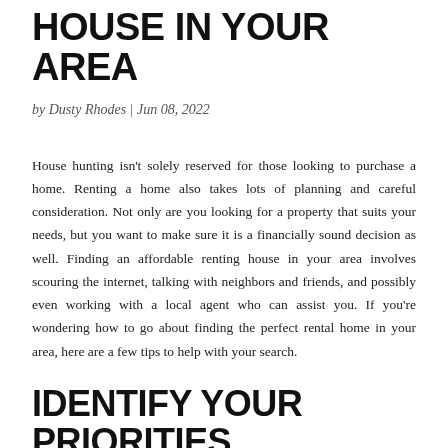HOUSE IN YOUR AREA
by Dusty Rhodes | Jun 08, 2022
House hunting isn't solely reserved for those looking to purchase a home. Renting a home also takes lots of planning and careful consideration. Not only are you looking for a property that suits your needs, but you want to make sure it is a financially sound decision as well. Finding an affordable renting house in your area involves scouring the internet, talking with neighbors and friends, and possibly even working with a local agent who can assist you. If you're wondering how to go about finding the perfect rental home in your area, here are a few tips to help with your search.
IDENTIFY YOUR PRIORITIES AND ESTABLISH A BUDGET